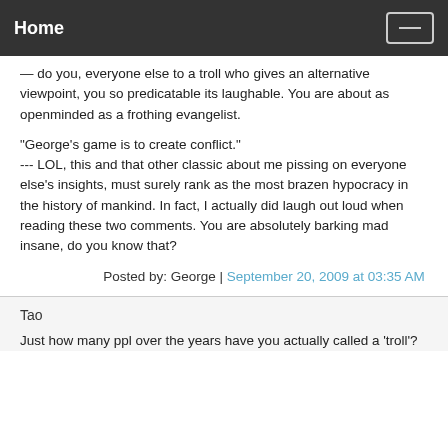Home
... do you, everyone else to a troll who gives an alternative viewpoint, you so predicatable its laughable. You are about as openminded as a frothing evangelist.

"George's game is to create conflict."
--- LOL, this and that other classic about me pissing on everyone else's insights, must surely rank as the most brazen hypocracy in the history of mankind. In fact, I actually did laugh out loud when reading these two comments. You are absolutely barking mad insane, do you know that?
Posted by: George | September 20, 2009 at 03:35 AM
Tao
Just how many ppl over the years have you actually called a 'troll'?